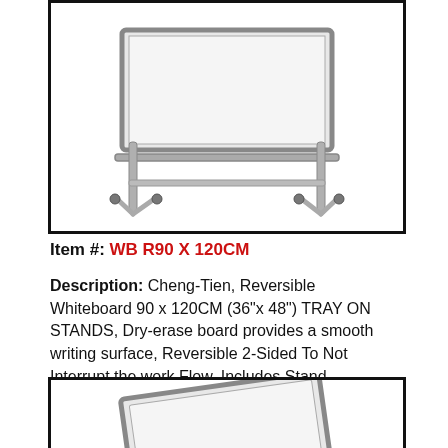[Figure (photo): Photo of a reversible whiteboard on a rolling stand with tray, shown from the front/side angle. The frame is silver/grey metal with wheels at the base.]
Item #: WB R90 X 120CM
Description: Cheng-Tien, Reversible Whiteboard 90 x 120CM (36"x 48") TRAY ON STANDS, Dry-erase board provides a smooth writing surface, Reversible 2-Sided To Not Interrupt the work Flow, Includes Stand...
[Figure (photo): Partial photo of another whiteboard product, bottom portion visible, showing a tilted/angled whiteboard on a stand.]